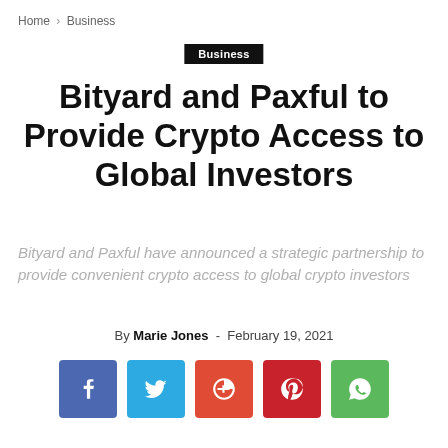Home › Business
Business
Bityard and Paxful to Provide Crypto Access to Global Investors
Bityard and Paxful have announced a strategic partnership to provide convenient crypto access to global crypto investors
By Marie Jones - February 19, 2021
[Figure (infographic): Social sharing buttons: Facebook (blue), Twitter (light blue), Google+ (red-orange), Pinterest (dark red), WhatsApp (green)]